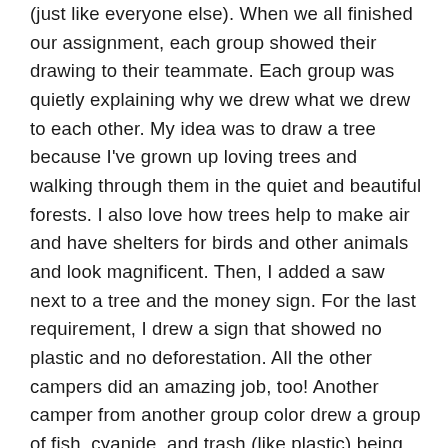(just like everyone else). When we all finished our assignment, each group showed their drawing to their teammate. Each group was quietly explaining why we drew what we drew to each other. My idea was to draw a tree because I've grown up loving trees and walking through them in the quiet and beautiful forests. I also love how trees help to make air and have shelters for birds and other animals and look magnificent. Then, I added a saw next to a tree and the money sign. For the last requirement, I drew a sign that showed no plastic and no deforestation. All the other campers did an amazing job, too! Another camper from another group color drew a group of fish, cyanide, and trash (like plastic) being thrown in the water and then to protect these awesome creatures were MPA or MSA areas which are also known as Marine Protected (or Secured) Area.
After this, we were all then handed another sheet of